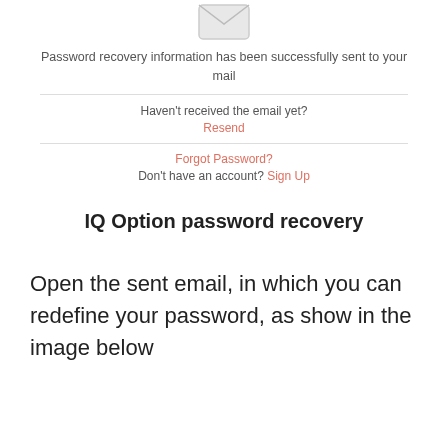[Figure (screenshot): Screenshot of a password recovery UI showing an envelope icon, success message, resend option, forgot password link, and sign up link]
IQ Option password recovery
Open the sent email, in which you can redefine your password, as show in the image below